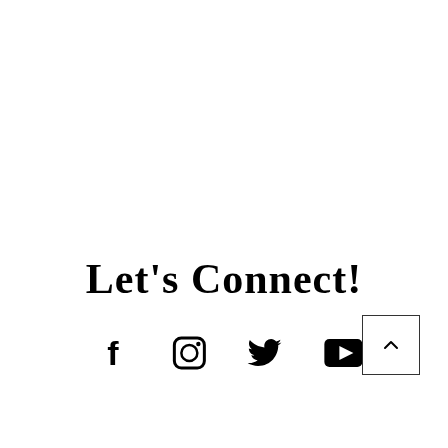Let's Connect!
[Figure (illustration): Row of four social media icons: Facebook (f), Instagram (camera), Twitter (bird), YouTube (play button triangle in rectangle)]
[Figure (other): Scroll-to-top button: square box with upward-pointing chevron arrow inside]